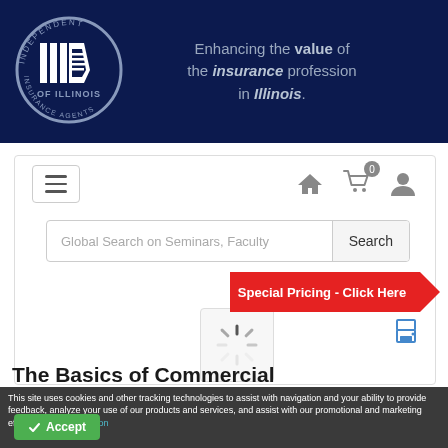[Figure (logo): Independent Insurance Agents of Illinois circular logo on dark navy banner with tagline: Enhancing the value of the insurance profession in Illinois.]
[Figure (screenshot): Website navigation bar with hamburger menu, home icon, cart icon with badge 0, and user icon.]
[Figure (screenshot): Search bar with placeholder text 'Global Search on Seminars, Faculty' and Search button, with a red arrow-shaped 'Special Pricing - Click Here' banner.]
[Figure (screenshot): Loading spinner and print icon in the content area.]
This site uses cookies and other tracking technologies to assist with navigation and your ability to provide feedback, analyze your use of our products and services, and assist with our promotional and marketing efforts. More Information
The Basics of Commercial Property Underwriting and Rating-COPE